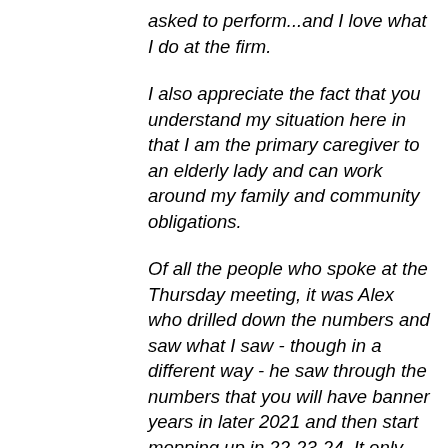asked to perform...and I love what I do at the firm.
I also appreciate the fact that you understand my situation here in that I am the primary caregiver to an elderly lady and can work around my family and community obligations.
Of all the people who spoke at the Thursday meeting, it was Alex who drilled down the numbers and saw what I saw - though in a different way - he saw through the numbers that you will have banner years in later 2021 and then start mopping up in 22-23-24. It only stands to reason as cases will continue to come in all